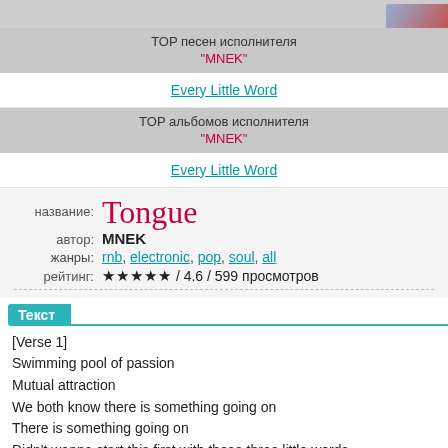[Figure (illustration): Top gray bar with partial album art image in top right corner]
TOP песен исполнителя "MNEK"
Every Little Word
TOP альбомов исполнителя "MNEK"
Every Little Word
название: Tongue
автор: MNEK
жанры: rnb, electronic, pop, soul, all
рейтинг: ★★★★★ / 4.6 / 599 просмотров
Текст
[Verse 1]
Swimming pool of passion
Mutual attraction
We both know there is something going on
There is something going on
Didn't wanna start this first with those three little words
'Cause we both know there is something going on
But I don't wanna play it wrong